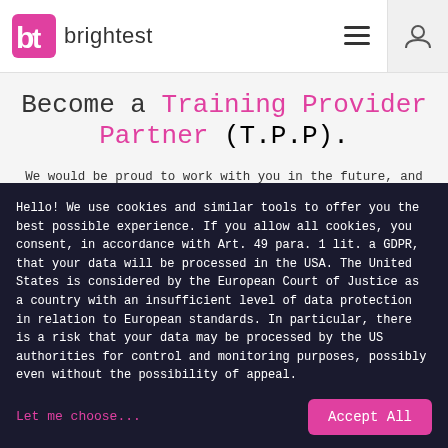brightest
Become a Training Provider Partner (T.P.P).
We would be proud to work with you in the future, and welcome you to the Brightest Training Provider Partner family. Please let us know if we can support you with your accreditation, we look forward to introducing you to the responsible board. If you are already accredited to offer courses for any of the exams that we support, simply contact
Hello! We use cookies and similar tools to offer you the best possible experience. If you allow all cookies, you consent, in accordance with Art. 49 para. 1 lit. a GDPR, that your data will be processed in the USA. The United States is considered by the European Court of Justice as a country with an insufficient level of data protection in relation to European standards. In particular, there is a risk that your data may be processed by the US authorities for control and monitoring purposes, possibly even without the possibility of appeal.
Let me choose...
Accept All